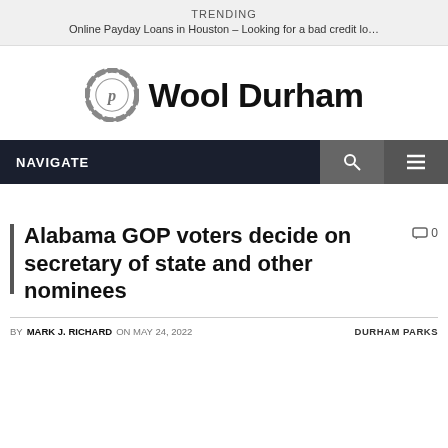TRENDING
Online Payday Loans in Houston – Looking for a bad credit lo…
[Figure (logo): Wool Durham logo: circular gear-like icon with stylized 'p' inside, followed by bold text 'Wool Durham']
NAVIGATE
Alabama GOP voters decide on secretary of state and other nominees
⬝ 0
BY MARK J. RICHARD ON MAY 24, 2022    DURHAM PARKS